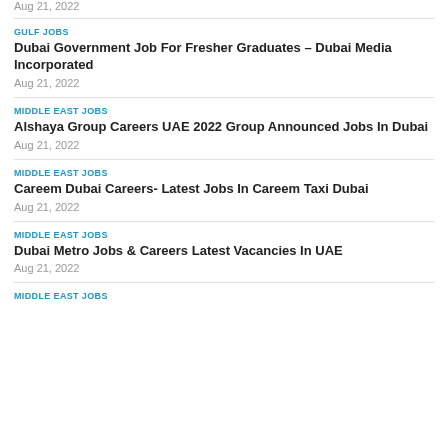Aug 21, 2022
GULF JOBS
Dubai Government Job For Fresher Graduates – Dubai Media Incorporated
Aug 21, 2022
MIDDLE EAST JOBS
Alshaya Group Careers UAE 2022 Group Announced Jobs In Dubai
Aug 21, 2022
MIDDLE EAST JOBS
Careem Dubai Careers- Latest Jobs In Careem Taxi Dubai
Aug 21, 2022
MIDDLE EAST JOBS
Dubai Metro Jobs & Careers Latest Vacancies In UAE
Aug 21, 2022
MIDDLE EAST JOBS